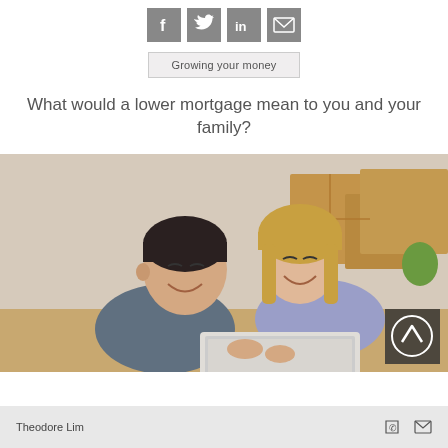[Figure (infographic): Four social media icon buttons: Facebook (f), Twitter (bird), LinkedIn (in), and email (envelope), all in grey square buttons]
Growing your money
What would a lower mortgage mean to you and your family?
[Figure (photo): A smiling couple lying on the floor looking at a laptop, with moving boxes in the background. An up-arrow scroll button is visible in the bottom right corner of the photo.]
Theodore Lim